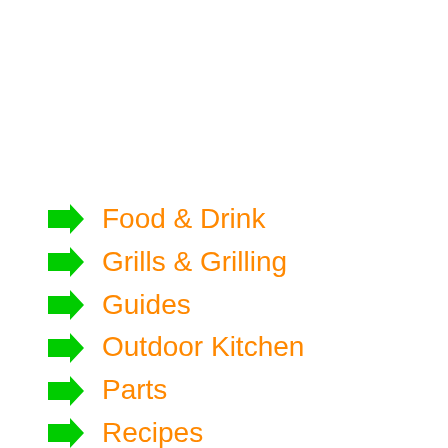Food & Drink
Grills & Grilling
Guides
Outdoor Kitchen
Parts
Recipes
Review